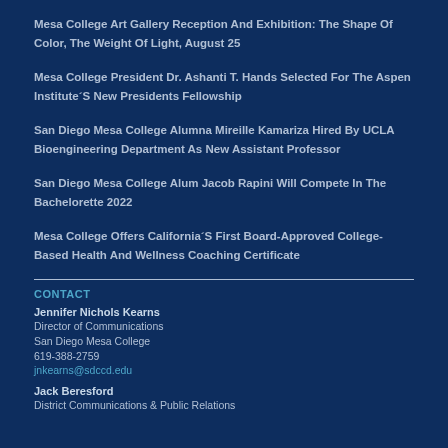Mesa College Art Gallery Reception And Exhibition: The Shape Of Color, The Weight Of Light, August 25
Mesa College President Dr. Ashanti T. Hands Selected For The Aspen Institute´S New Presidents Fellowship
San Diego Mesa College Alumna Mireille Kamariza Hired By UCLA Bioengineering Department As New Assistant Professor
San Diego Mesa College Alum Jacob Rapini Will Compete In The Bachelorette 2022
Mesa College Offers California´S First Board-Approved College-Based Health And Wellness Coaching Certificate
CONTACT
Jennifer Nichols Kearns
Director of Communications
San Diego Mesa College
619-388-2759
jnkearns@sdccd.edu
Jack Beresford
District Communications & Public Relations